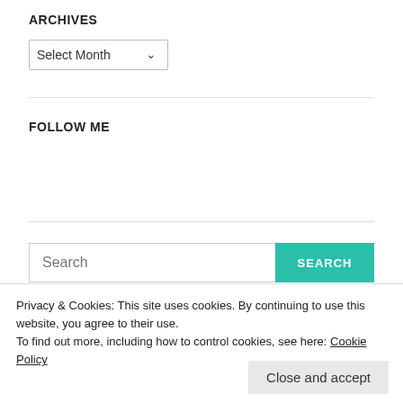ARCHIVES
[Figure (screenshot): Dropdown selector showing 'Select Month' with a chevron arrow]
FOLLOW ME
[Figure (screenshot): Search input bar with placeholder text 'Search' and a teal SEARCH button]
Privacy & Cookies: This site uses cookies. By continuing to use this website, you agree to their use.
To find out more, including how to control cookies, see here: Cookie Policy
Close and accept